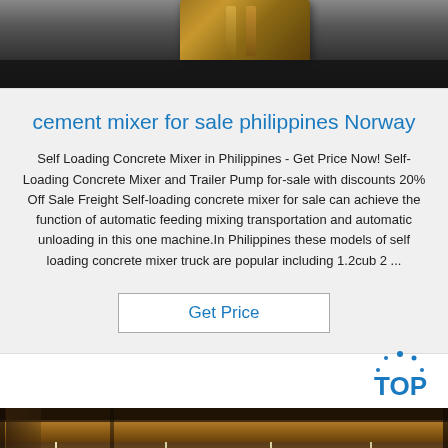[Figure (photo): Top portion of industrial/construction photo showing dark metallic surface with wooden/timber element]
cement mixer for sale philippines Norway
Self Loading Concrete Mixer in Philippines - Get Price Now! Self-Loading Concrete Mixer and Trailer Pump for-sale with discounts 20% Off Sale Freight Self-loading concrete mixer for sale can achieve the function of automatic feeding mixing transportation and automatic unloading in this one machine.In Philippines these models of self loading concrete mixer truck are popular including 1.2cub 2 ...
[Figure (other): Get Price button]
[Figure (logo): TOP logo with blue dot decoration]
[Figure (photo): Industrial warehouse interior showing overhead crane beams and steel structure]